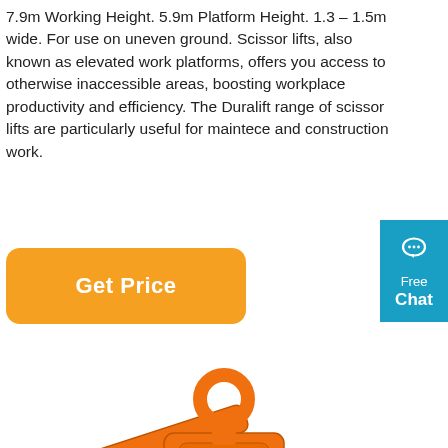7.9m Working Height. 5.9m Platform Height. 1.3 – 1.5m wide. For use on uneven ground. Scissor lifts, also known as elevated work platforms, offers you access to otherwise inaccessible areas, boosting workplace productivity and efficiency. The Duralift range of scissor lifts are particularly useful for maintece and construction work.
[Figure (other): Orange 'Get Price' button with rounded corners]
[Figure (other): Teal/blue Free Chat widget with speech bubble icon showing 'Free Chat' text]
[Figure (photo): Orange scissor lift mechanism / clamp tool photographed on white background, showing the scissor linkage with circular lifting ring at top and cylindrical bolts]